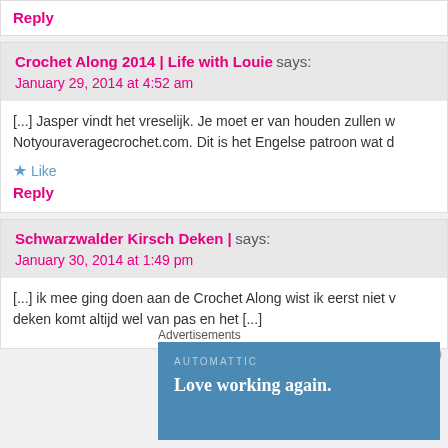Reply
Crochet Along 2014 | Life with Louie says:
January 29, 2014 at 4:52 am
[...] Jasper vindt het vreselijk. Je moet er van houden zullen w Notyouraveragecrochet.com. Dit is het Engelse patroon wat d
Like
Reply
Schwarzwalder Kirsch Deken | says:
January 30, 2014 at 1:49 pm
[...] ik mee ging doen aan de Crochet Along wist ik eerst niet v deken komt altijd wel van pas en het [...]
Advertisements
[Figure (screenshot): Automattic advertisement banner with text 'Love working again.' on blue background]